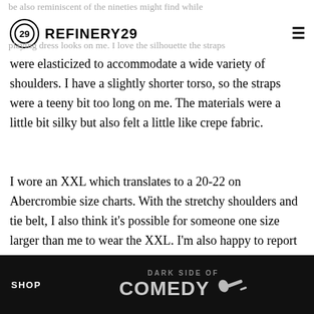REFINERY29
were elasticized to accommodate a wide variety of shoulders. I have a slightly shorter torso, so the straps were a teeny bit too long on me. The materials were a little bit silky but also felt a little like crepe fabric.
I wore an XXL which translates to a 20-22 on Abercrombie size charts. With the stretchy shoulders and tie belt, I also think it's possible for someone one size larger than me to wear the XXL. I'm also happy to report this particular style goes up to an XXXL(24-26).
Shop Abercrombie & Fitch Dresses & Jumpsuits
[Figure (screenshot): Dark Side of Comedy advertisement banner at the bottom of the page]